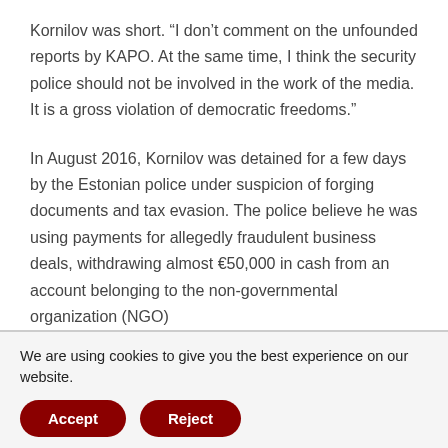Kornilov was short. “I don’t comment on the unfounded reports by KAPO. At the same time, I think the security police should not be involved in the work of the media. It is a gross violation of democratic freedoms.”
In August 2016, Kornilov was detained for a few days by the Estonian police under suspicion of forging documents and tax evasion. The police believe he was using payments for allegedly fraudulent business deals, withdrawing almost €50,000 in cash from an account belonging to the non-governmental organization (NGO)
We are using cookies to give you the best experience on our website.